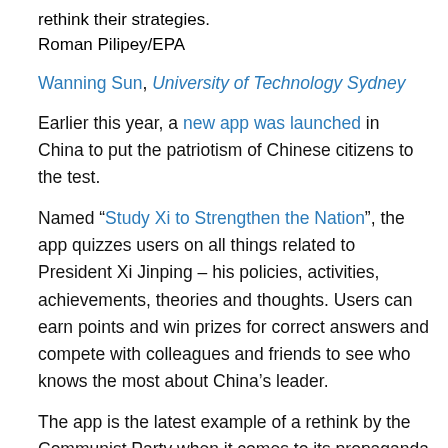rethink their strategies.
Roman Pilipey/EPA
Wanning Sun, University of Technology Sydney
Earlier this year, a new app was launched in China to put the patriotism of Chinese citizens to the test.
Named “Study Xi to Strengthen the Nation”, the app quizzes users on all things related to President Xi Jinping – his policies, activities, achievements, theories and thoughts. Users can earn points and win prizes for correct answers and compete with colleagues and friends to see who knows the most about China’s leader.
The app is the latest example of a rethink by the Communist Party when it comes to its propaganda efforts and how best to justify the legitimacy of its one-party rule.